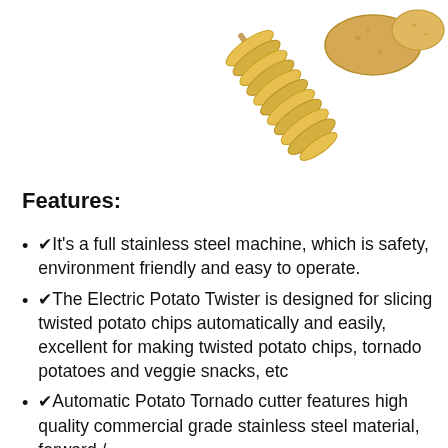[Figure (photo): Spiral-cut twisted potato chip on a skewer (golden/yellow color) and two whole potatoes in the upper right corner, on white background.]
Features:
✔It's a full stainless steel machine, which is safety, environment friendly and easy to operate.
✔The Electric Potato Twister is designed for slicing twisted potato chips automatically and easily, excellent for making twisted potato chips, tornado potatoes and veggie snacks, etc
✔Automatic Potato Tornado cutter features high quality commercial grade stainless steel material, forward /